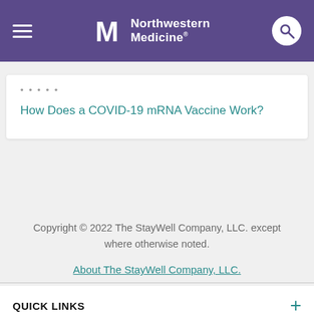Northwestern Medicine
...
How Does a COVID-19 mRNA Vaccine Work?
Copyright © 2022 The StayWell Company, LLC. except where otherwise noted.
About The StayWell Company, LLC.
QUICK LINKS